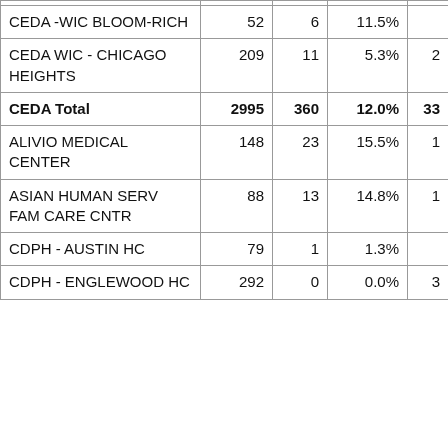|  |  |  |  |  |
| --- | --- | --- | --- | --- |
| CEDA -WIC BLOOM-RICH | 52 | 6 | 11.5% |  |
| CEDA WIC - CHICAGO HEIGHTS | 209 | 11 | 5.3% | 2 |
| CEDA Total | 2995 | 360 | 12.0% | 33 |
| ALIVIO MEDICAL CENTER | 148 | 23 | 15.5% | 1 |
| ASIAN HUMAN SERV FAM CARE CNTR | 88 | 13 | 14.8% | 1 |
| CDPH - AUSTIN HC | 79 | 1 | 1.3% |  |
| CDPH - ENGLEWOOD HC | 292 | 0 | 0.0% | 3 |